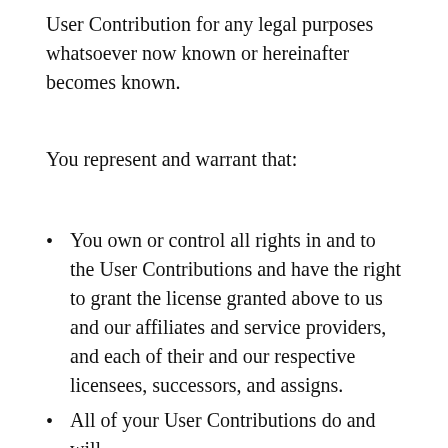User Contribution for any legal purposes whatsoever now known or hereinafter becomes known.
You represent and warrant that:
You own or control all rights in and to the User Contributions and have the right to grant the license granted above to us and our affiliates and service providers, and each of their and our respective licensees, successors, and assigns.
All of your User Contributions do and will